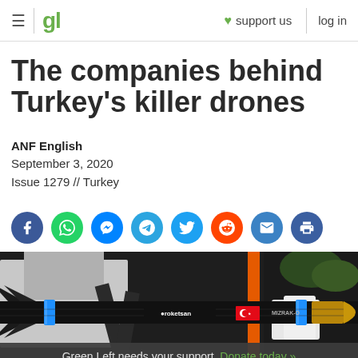≡  gl   ♥ support us   log in
The companies behind Turkey's killer drones
ANF English
September 3, 2020
Issue 1279 // Turkey
[Figure (infographic): Row of 8 social sharing icons: Facebook (blue), WhatsApp (green), Messenger (blue), Telegram (blue), Twitter (blue), Reddit (orange), Email (blue), Print (dark blue)]
[Figure (photo): Close-up photograph of a Roketsan MIZRAK-O missile/rocket with black body, blue rings, Turkish flag emblem, displayed at what appears to be a defense exhibition. Background shows exhibition booth elements.]
Green Left needs your support. Donate today »